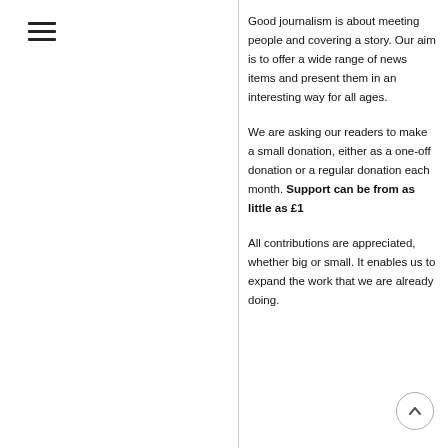[Figure (other): Hamburger menu icon (three horizontal lines)]
Good journalism is about meeting people and covering a story. Our aim is to offer a wide range of news items and present them in an interesting way for all ages.
We are asking our readers to make a small donation, either as a one-off donation or a regular donation each month. Support can be from as little as £1
All contributions are appreciated, whether big or small. It enables us to expand the work that we are already doing.